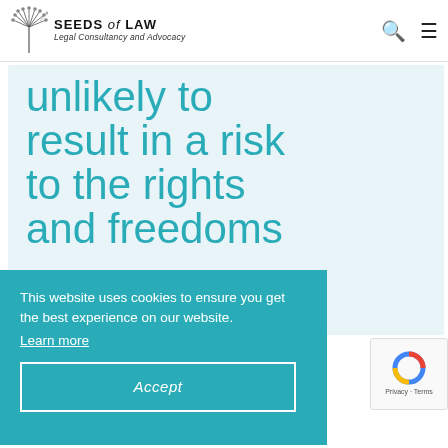SEEDS of LAW | Legal Consultancy and Advocacy
unlikely to result in a risk to the rights and freedoms
This website uses cookies to ensure you get the best experience on our website. Learn more
Accept
In case a notification is required, the GDPR